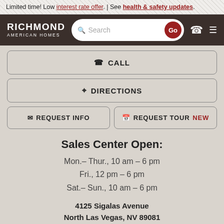Limited time! Low interest rate offer. | See health & safety updates.
[Figure (screenshot): Richmond American Homes navigation bar with logo, search bar with Go button, phone icon, and hamburger menu icon]
☎ CALL
⚲ DIRECTIONS
✉ REQUEST INFO
📅 REQUEST TOUR NEW
Sales Center Open:
Mon.– Thur., 10 am – 6 pm
Fri., 12 pm – 6 pm
Sat.– Sun., 10 am – 6 pm
4125 Sigalas Avenue
North Las Vegas, NV 89081